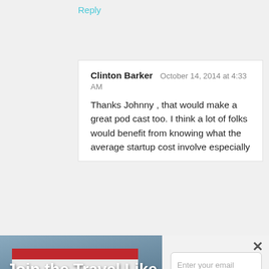Reply
Clinton Barker  October 14, 2014 at 4:33 AM
Thanks Johnny , that would make a great pod cast too. I think a lot of folks would benefit from knowing what the average startup cost involve especially
[Figure (photo): Popup overlay with left image showing 'Join the Travel Like a Boss Army' text over a photo of martial arts practitioners, with red/white/blue stripes banner. Right side shows email signup form with 'Enter your email address' input and 'JOIN TODAY!' button, and a close X button.]
Sign up today and get free stuff like 20% off Shopify coupons, my 5 Steps to Success videos and exclusive event invites!As a bonus for signing up you'll also get the "How to Pick the Perfect Niche" bonus episode!